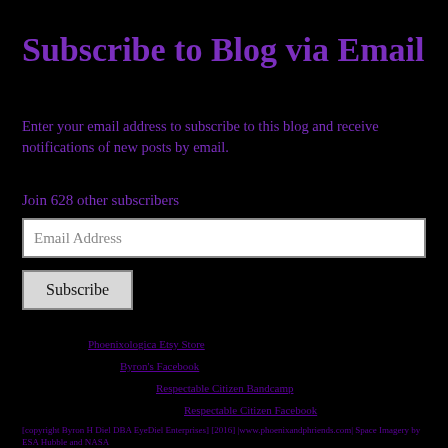Subscribe to Blog via Email
Enter your email address to subscribe to this blog and receive notifications of new posts by email.
Join 628 other subscribers
Email Address
Subscribe
Phoenixologica Etsy Store
Byron's Facebook
Respectable Citizen Bandcamp
Respectable Citizen Facebook
[copyright Byron H Diel DBA EyeDiel Enterprises] [2016] |www.phoenixandphriends.com| Space Imagery by ESA Hubble and NASA